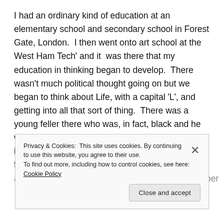I had an ordinary kind of education at an elementary school and secondary school in Forest Gate, London.  I then went onto art school at the West Ham Tech' and it  was there that my education in thinking began to develop.  There wasn't much political thought going on but we began to think about Life, with a capital 'L', and getting into all that sort of thing.  There was a young feller there who was, in fact, black and he was the only black boy in the school.  He got very interested in politics and became a pacifist.  In fact, he took me along to a meeting of the old ILP which if I remember
Privacy & Cookies:  This site uses cookies. By continuing to use this website, you agree to their use.
To find out more, including how to control cookies, see here: Cookie Policy